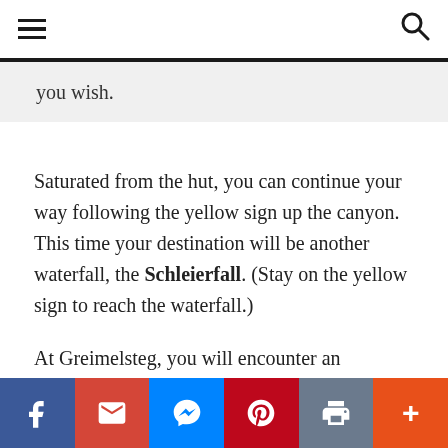≡  🔍
you wish.
Saturated from the hut, you can continue your way following the yellow sign up the canyon. This time your destination will be another waterfall, the Schleierfall. (Stay on the yellow sign to reach the waterfall.)
At Greimelsteg, you will encounter an intersection where you still have to endure and go up a few meters. That's how you get to the waterfall. If you've